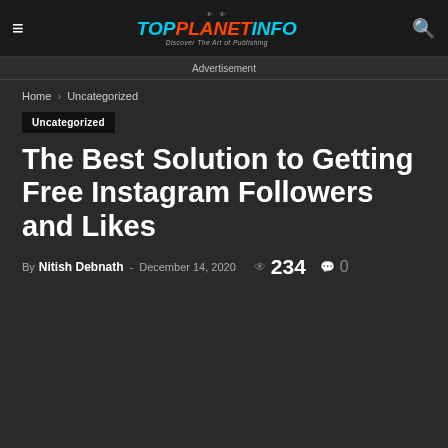TopPlanetInfo — Discover The Art of Publishing
Advertisement
Home › Uncategorized
Uncategorized
The Best Solution to Getting Free Instagram Followers and Likes
By Nitish Debnath - December 14, 2020  234  0